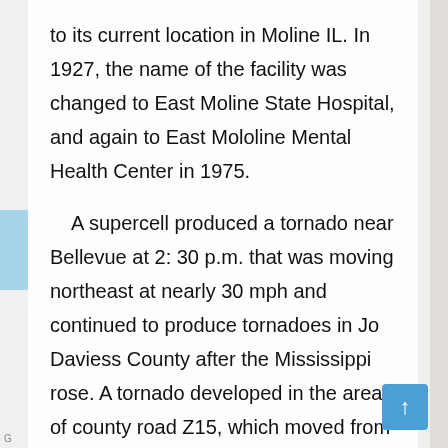to its current location in Moline IL. In 1927, the name of the facility was changed to East Moline State Hospital, and again to East Mololine Mental Health Center in 1975.
A supercell produced a tornado near Bellevue at 2: 30 p.m. that was moving northeast at nearly 30 mph and continued to produce tornadoes in Jo Daviess County after the Mississippi rose. A tornado developed in the area of county road Z15, which moved from north to northeast after crossing the Missouri. Another tornado was